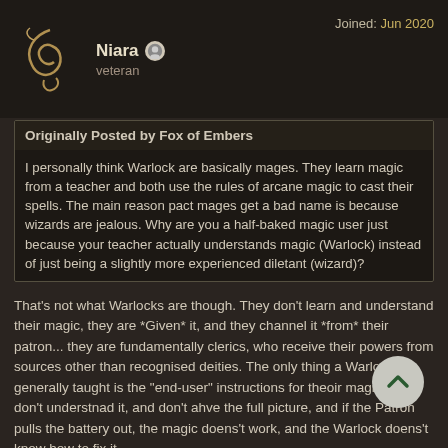Niara veteran | Joined: Jun 2020
Originally Posted by Fox of Embers

I personally think Warlock are basically mages. They learn magic from a teacher and both use the rules of arcane magic to cast their spells. The main reason pact mages get a bad name is because wizards are jealous. Why are you a half-baked magic user just because your teacher actually understands magic (Warlock) instead of just being a slightly more experienced diletant (wizard)?
That's not what Warlocks are though. They don't learn and understand their magic, they are *Given* it, and they channel it *from* their patron... they are fundamentally clerics, who receive their powers from sources other than recognised deities. The only thing a Warlock is generally taught is the "end-user" instructions for theoir magic - they don't understnad it, and don't ahve the full picture, and if the Patron pulls the battery out, the magic doens't work, and the Warlock doens't know how to fix it.
Here's the difference: If a Wizard's experiences the utter anihilation and eradication of everyone and everything they ever learned from, and is